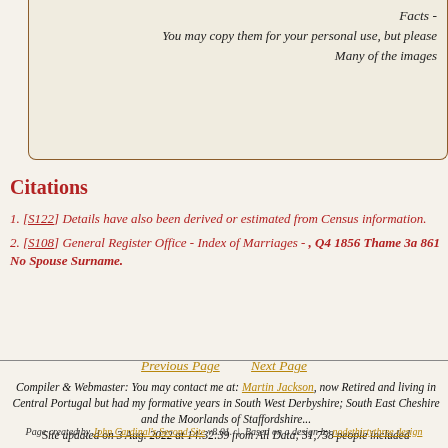Facts -
You may copy them for your personal use, but please
Many of the images
Citations
1. [S122] Details have also been derived or estimated from Census information.
2. [S108] General Register Office - Index of Marriages - , Q4 1856 Thame 3a 861 No Spouse Surname.
Previous Page    Next Page
Compiler & Webmaster: You may contact me at: Martin Jackson, now Retired and living in Central Portugal but had my formative years in South West Derbyshire; South East Cheshire and the Moorlands of Staffordshire... Site updated on 3 Aug. 2022 at 14:32:39 from All Data; 31,758 people included
Page created by John Cardinal's Second Site v8.01.  |  Based on a design by nodethirtythree design